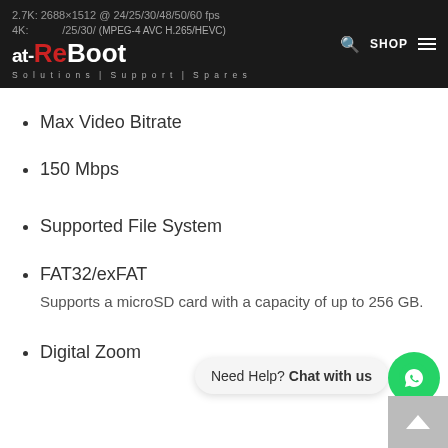at-ReBoot Solutions | Support | Spares — 2.7K: 2688×1512 @ 24/25/30/48/50/60 fps — (MPEG-4 AVC H.265/HEVC)
Max Video Bitrate
150 Mbps
Supported File System
FAT32/exFAT
Supports a microSD card with a capacity of up to 256 GB.
Digital Zoom